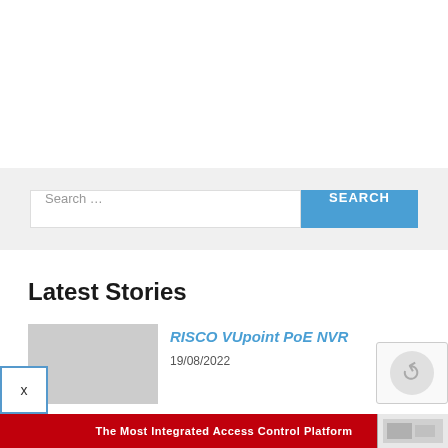[Figure (other): Search bar with text input 'Search …' and blue SEARCH button on a light grey background]
Latest Stories
[Figure (photo): Thumbnail image placeholder for RISCO VUpoint PoE NVR article]
RISCO VUpoint PoE NVR
19/08/2022
[Figure (infographic): Red advertisement banner at bottom: 'The Most Integrated Access Control Platform' with product image on right]
[Figure (other): reCAPTCHA widget in bottom right corner]
[Figure (other): Close button (X) in bottom left corner]